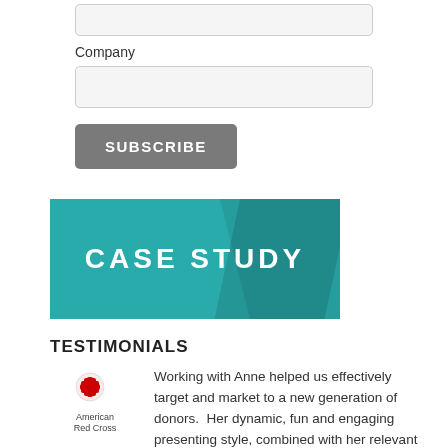Company
[Figure (other): Empty form input field for Company]
[Figure (other): SUBSCRIBE button]
[Figure (other): CASE STUDY banner in teal/dark teal with diagonal shadow]
TESTIMONIALS
[Figure (logo): American Red Cross logo with red cross icon and text]
Working with Anne helped us effectively target and market to a new generation of donors.  Her dynamic, fun and engaging presenting style, combined with her relevant and important